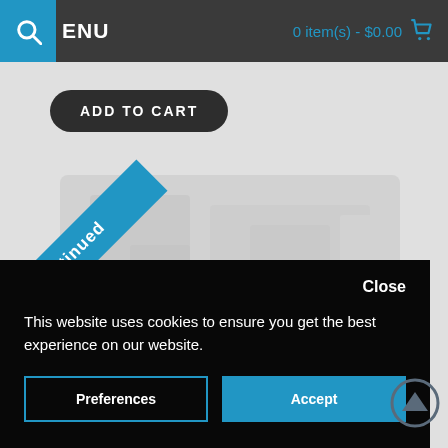MENU   0 item(s) - $0.00
ADD TO CART
[Figure (illustration): Blue diagonal discontinued ribbon banner overlaid on a blurred product image of a mechanical component]
Close
This website uses cookies to ensure you get the best experience on our website.
Preferences   Accept